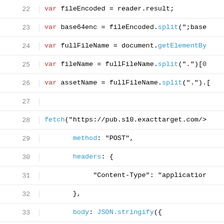[Figure (screenshot): Code editor screenshot showing JavaScript code lines 22–40 with line numbers on the left and syntax-highlighted code on the right. Code includes variable declarations and a fetch() API call with method, headers, body, and .then() handler.]